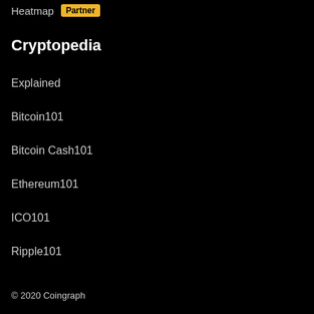Heatmap Partner
Cryptopedia
Explained
Bitcoin101
Bitcoin Cash101
Ethereum101
ICO101
Ripple101
© 2020 Coingraph